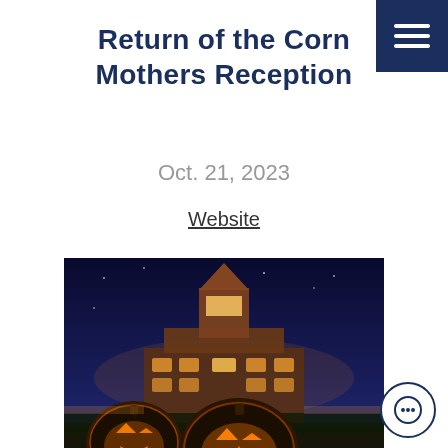Return of the Corn Mothers Reception
Oct. 21, 2023
Website
[Figure (photo): Night-time photo of a historic brick building with a tower, lit with warm lights, and two glowing jack-o-lanterns in the foreground grass against a deep blue twilight sky.]
GITA's Spooky Open House